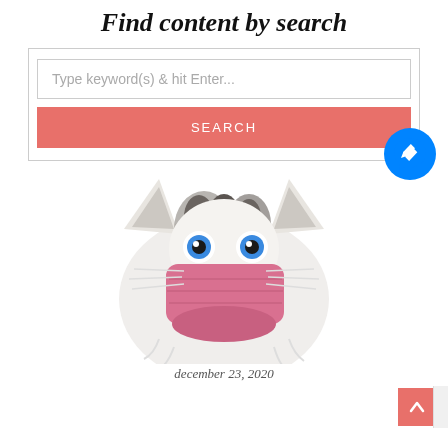Find content by search
Type keyword(s) & hit Enter...
SEARCH
[Figure (illustration): Illustration of a fluffy cat with blue eyes wearing a pink face mask]
december 23, 2020